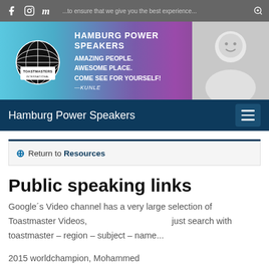Browser toolbar with social media icons (Facebook, Instagram, Meetup) and zoom icon
[Figure (infographic): Hamburg Power Speakers Toastmasters International banner with globe logo, text: HAMBURG POWER SPEAKERS / AMAZING PEOPLE. AWESOME PLACE. COME SEE FOR YOURSELF! —KUNLE, and photo of smiling man]
Hamburg Power Speakers — navigation bar with hamburger menu
Return to Resources
Public speaking links
Google´s Video channel has a very large selection of Toastmaster Videos,                                    just search with toastmaster – region – subject – name...
2015 worldchampion, Mohammed